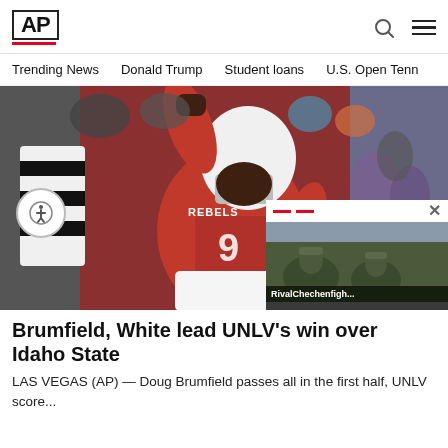AP
Trending News   Donald Trump   Student loans   U.S. Open Tenn
[Figure (photo): UNLV Rebels football player #9 in red jersey raising fist in celebration, with referee in black and white stripes visible in background, crowd in stadium]
Brumfield, White lead UNLV's win over Idaho State
LAS VEGAS (AP) — Doug Brumfield passes all in the first half, UNLV score...